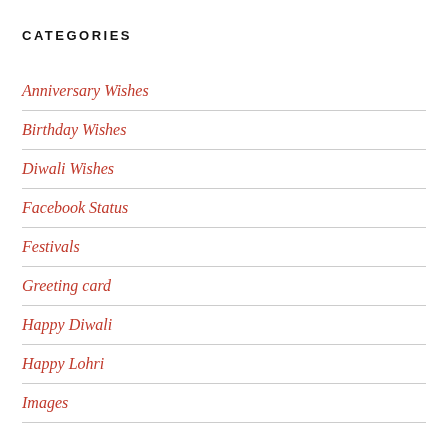CATEGORIES
Anniversary Wishes
Birthday Wishes
Diwali Wishes
Facebook Status
Festivals
Greeting card
Happy Diwali
Happy Lohri
Images